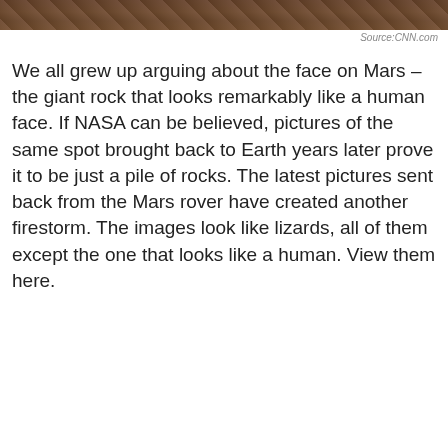[Figure (photo): Close-up photo of Mars surface showing rocky, brownish terrain]
Source:CNN.com
We all grew up arguing about the face on Mars – the giant rock that looks remarkably like a human face. If NASA can be believed, pictures of the same spot brought back to Earth years later prove it to be just a pile of rocks. The latest pictures sent back from the Mars rover have created another firestorm. The images look like lizards, all of them except the one that looks like a human. View them here.